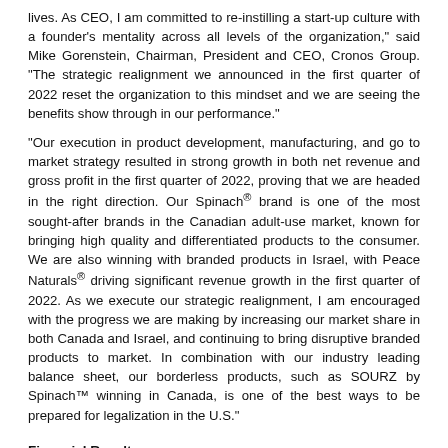lives. As CEO, I am committed to re-instilling a start-up culture with a founder's mentality across all levels of the organization," said Mike Gorenstein, Chairman, President and CEO, Cronos Group. "The strategic realignment we announced in the first quarter of 2022 reset the organization to this mindset and we are seeing the benefits show through in our performance."
"Our execution in product development, manufacturing, and go to market strategy resulted in strong growth in both net revenue and gross profit in the first quarter of 2022, proving that we are headed in the right direction. Our Spinach® brand is one of the most sought-after brands in the Canadian adult-use market, known for bringing high quality and differentiated products to the consumer. We are also winning with branded products in Israel, with Peace Naturals® driving significant revenue growth in the first quarter of 2022. As we execute our strategic realignment, I am encouraged with the progress we are making by increasing our market share in both Canada and Israel, and continuing to bring disruptive branded products to market. In combination with our industry leading balance sheet, our borderless products, such as SOURZ by Spinach™ winning in Canada, is one of the best ways to be prepared for legalization in the U.S."
Financial Results
| (in thousands of USD) | Three months ended | Change |
| --- | --- | --- |